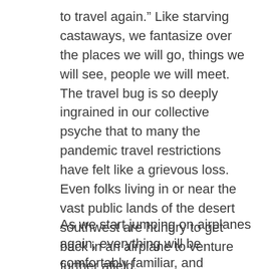to travel again.” Like starving castaways, we fantasize over the places we will go, things we will see, people we will meet. The travel bug is so deeply ingrained in our collective psyche that to many the pandemic travel restrictions have felt like a grievous loss. Even folks living in or near the vast public lands of the desert southwest are hungry to get back in an airplane to venture further afield.
As we start jumping on airplanes again, everything will be comfortably familiar, and